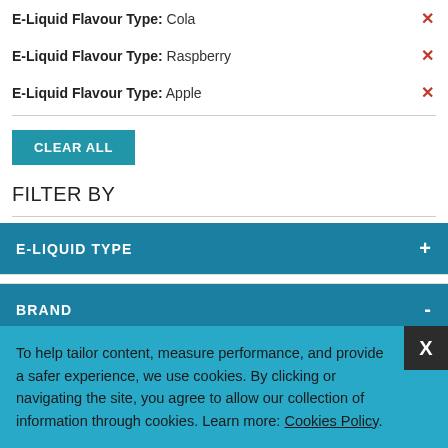E-Liquid Flavour Type: Cola ✕
E-Liquid Flavour Type: Raspberry ✕
E-Liquid Flavour Type: Apple ✕
CLEAR ALL
FILTER BY
E-LIQUID TYPE +
BRAND -
Halo Vapour Co. (9)
To help tailor content, measure performance, and provide a safer experience, we use cookies. By clicking or navigating the site, you agree to allow our collection of information through cookies. Learn more: Cookies Policy.